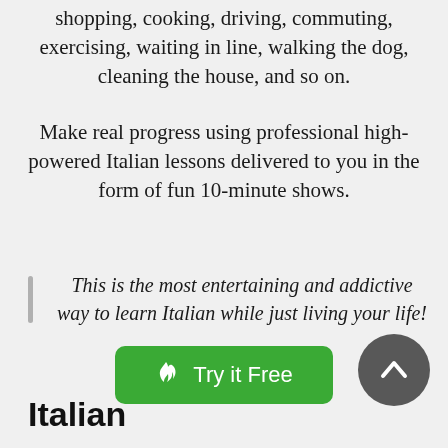shopping, cooking, driving, commuting, exercising, waiting in line, walking the dog, cleaning the house, and so on.
Make real progress using professional high-powered Italian lessons delivered to you in the form of fun 10-minute shows.
This is the most entertaining and addictive way to learn Italian while just living your life!
Try it Free
Italian